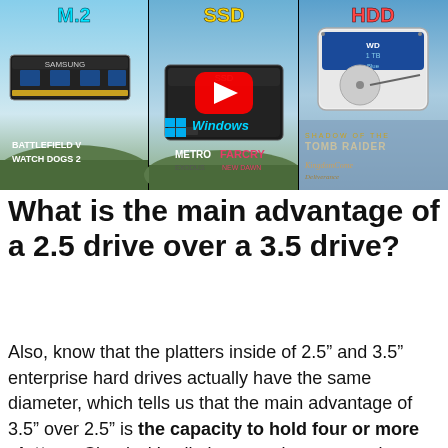[Figure (screenshot): YouTube thumbnail or video screenshot showing three panels side-by-side: left panel has Samsung M.2 NVMe drive with Battlefield V and Watch Dogs 2 text, center panel has YouTube play button over SSD with Windows logo, Metro and Far Cry game logos, right panel has WD HDD drive with Tomb Raider and Kingdom Come Deliverance logos, with colored title text at top reading M.2, SSD, HDD]
What is the main advantage of a 2.5 drive over a 3.5 drive?
Also, know that the platters inside of 2.5” and 3.5” enterprise hard drives actually have the same diameter, which tells us that the main advantage of 3.5” over 2.5” is the capacity to hold four or more platters. Clearly, it’s all about maximum capacity, which...